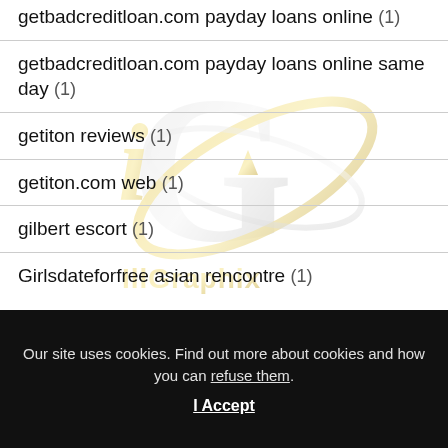getbadcreditloan.com payday loans online (1)
getbadcreditloan.com payday loans online same day (1)
getiton reviews (1)
getiton.com web (1)
gilbert escort (1)
Girlsdateforfree asian rencontre (1)
[Figure (logo): IllGraphix watermark logo — silver and gold stylized 'iG' with pen nib and orbital ring, with 'IllGraphix' text in gold]
Our site uses cookies. Find out more about cookies and how you can refuse them.
I Accept